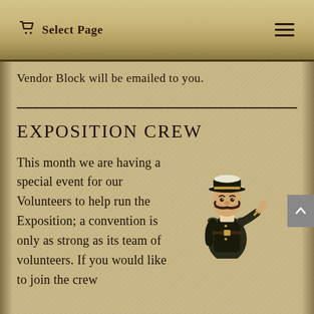Select Page
Vendor Block will be emailed to you.
Exposition Crew
This month we are having a special event for our Volunteers to help run the Exposition; a convention is only as strong as its team of volunteers. If you would like to join the crew
[Figure (illustration): Vintage Lord Kitchener-style pointing figure in military uniform with cap and mustache, pointing finger toward viewer]